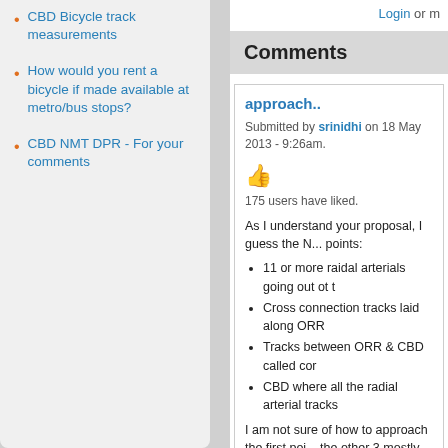CBD Bicycle track measurements
How would you rent a bicycle if made available at metro/bus stops?
CBD NMT DPR - For your comments
Login or m
Comments
approach..
Submitted by srinidhi on 18 May 2013 - 9:26am.
175 users have liked.
As I understand your proposal, I guess the N... points:
11 or more raidal arterials going out ot t
Cross connection tracks laid along ORR
Tracks between ORR & CBD called cor
CBD where all the radial arterial tracks
I am not sure of how to approach the first poi... the other 3 mostly comes under the BDA/BB... drawn up.
About addressing the route all along the ORR... be too difficult to club the NMT plan along w... need pedestrians too to get to the busses
About the last point on CBD, I think its time